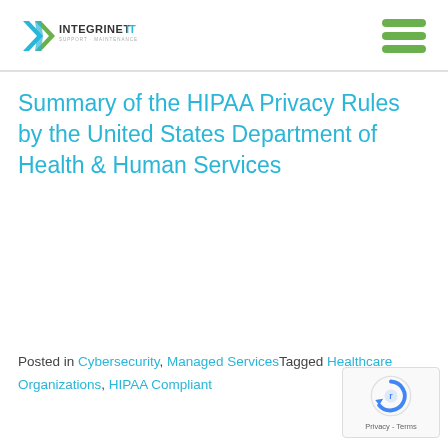INTEGRINET IT — Support · Maintenance · Security
Summary of the HIPAA Privacy Rules by the United States Department of Health & Human Services
Posted in Cybersecurity, Managed ServicesTagged Healthcare Organizations, HIPAA Compliant